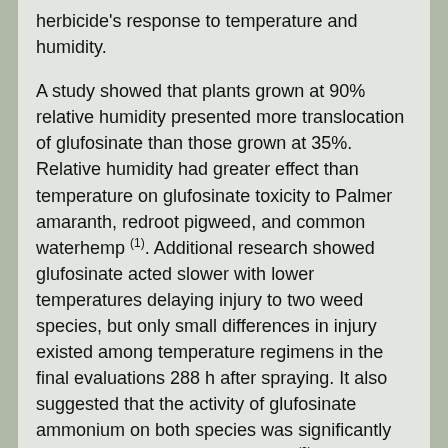herbicide's response to temperature and humidity.
A study showed that plants grown at 90% relative humidity presented more translocation of glufosinate than those grown at 35%. Relative humidity had greater effect than temperature on glufosinate toxicity to Palmer amaranth, redroot pigweed, and common waterhemp (1). Additional research showed glufosinate acted slower with lower temperatures delaying injury to two weed species, but only small differences in injury existed among temperature regimens in the final evaluations 288 h after spraying. It also suggested that the activity of glufosinate ammonium on both species was significantly reduced by low relative humidity (2).
Barry Tickes at the The University of Arizona conducted a nutsedge trial in 2010 at the Yuma Mesa in which we sprayed Rely in June with similar temperatures to what we are having today and humidity below 20%. Then, a